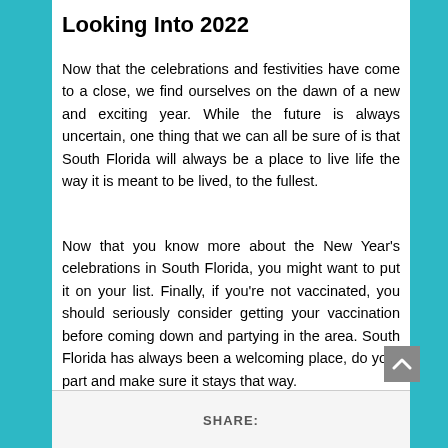Looking Into 2022
Now that the celebrations and festivities have come to a close, we find ourselves on the dawn of a new and exciting year. While the future is always uncertain, one thing that we can all be sure of is that South Florida will always be a place to live life the way it is meant to be lived, to the fullest.
Now that you know more about the New Year's celebrations in South Florida, you might want to put it on your list. Finally, if you're not vaccinated, you should seriously consider getting your vaccination before coming down and partying in the area. South Florida has always been a welcoming place, do your part and make sure it stays that way.
SHARE: